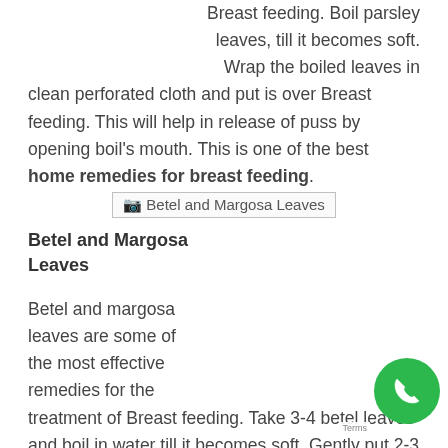Breast feeding. Boil parsley leaves, till it becomes soft. Wrap the boiled leaves in clean perforated cloth and put is over Breast feeding. This will help in release of puss by opening boil's mouth. This is one of the best home remedies for breast feeding.
[Figure (photo): Image of Betel and Margosa Leaves]
Betel and Margosa Leaves
Betel and margosa leaves are some of the most effective remedies for the treatment of Breast feeding. Take 3-4 betel leaves and boil in water till it becomes soft .Gently put 2-3 drops of caster oil Cover Breast feeding with these leaves. Similarly, boil 15-2 leaves in ½ liter of water. Allow it to boil until the mixture re to 1/2 of its constituent. Allow the mixture to cool and gently apply